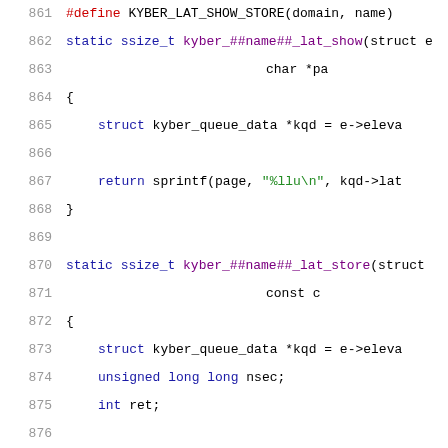[Figure (screenshot): Source code listing showing lines 861-882 of a C kernel file implementing KYBER_LAT_SHOW_STORE macro and related static ssize_t functions for kyber queue latency show/store operations.]